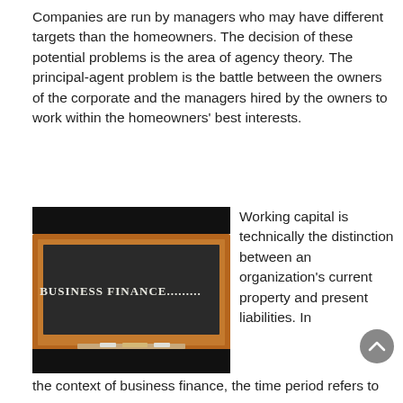Companies are run by managers who may have different targets than the homeowners. The decision of these potential problems is the area of agency theory. The principal-agent problem is the battle between the owners of the corporate and the managers hired by the owners to work within the homeowners' best interests.
[Figure (photo): A chalkboard image with the text 'BUSINESS FINANCE.........' written on it in white chalk, inside a wooden frame, with a black background at top and bottom.]
Working capital is technically the distinction between an organization's current property and present liabilities. In the context of business finance, the time period refers to